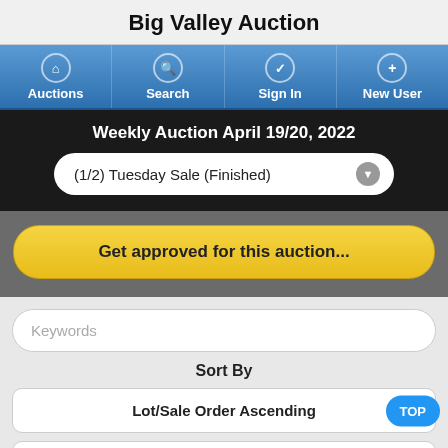Big Valley Auction
[Figure (screenshot): Navigation bar with four items: Auctions (home icon), Search (magnifying glass icon), Sign In (checkmark icon), New User (plus icon)]
Weekly Auction April 19/20, 2022
(1/2) Tuesday Sale (Finished)
Get approved for this auction...
Keywords
Sort By
Lot/Sale Order Ascending
Additional Filters